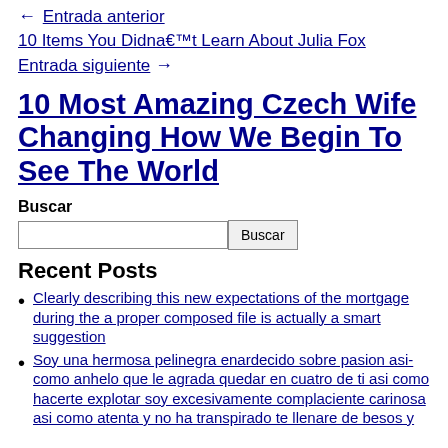← Entrada anterior
10 Items You Didna€™t Learn About Julia Fox
Entrada siguiente →
10 Most Amazing Czech Wife Changing How We Begin To See The World
Buscar
Recent Posts
Clearly describing this new expectations of the mortgage during the a proper composed file is actually a smart suggestion
Soy una hermosa pelinegra enardecido sobre pasion asi-como anhelo que le agrada quedar en cuatro de ti asi como hacerte explotar soy excesivamente complaciente carinosa asi como atenta y no ha transpirado te llenare de besos y